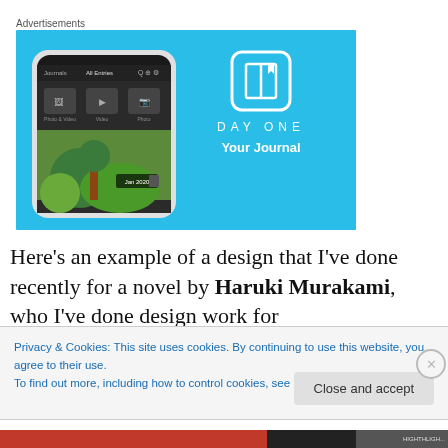Advertisements
[Figure (screenshot): Day One journal app advertisement on a light blue background, showing a smartphone screenshot of the app interface on the left, and the Day One logo (book with bookmark icon), brand name 'DAYONE', and tagline 'Your Journal' on the right.]
Here’s an example of a design that I’ve done recently for a novel by Haruki Murakami, who I’ve done design work for
Privacy & Cookies: This site uses cookies. By continuing to use this website, you agree to their use.
To find out more, including how to control cookies, see here: Cookie Policy
Close and accept